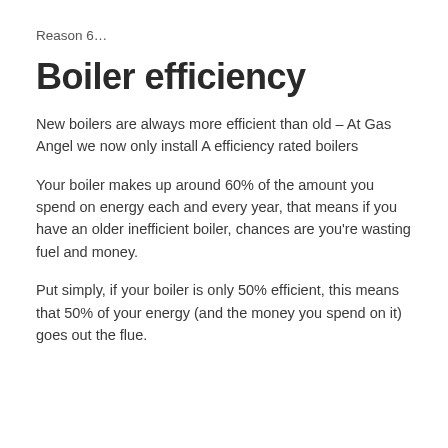Reason 6…
Boiler efficiency
New boilers are always more efficient than old – At Gas Angel we now only install A efficiency rated boilers
Your boiler makes up around 60% of the amount you spend on energy each and every year, that means if you have an older inefficient boiler, chances are you're wasting fuel and money.
Put simply, if your boiler is only 50% efficient, this means that 50% of your energy (and the money you spend on it) goes out the flue.